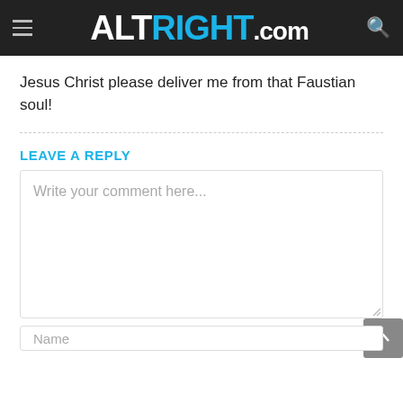ALTRIGHT.COM
Jesus Christ please deliver me from that Faustian soul!
LEAVE A REPLY
Write your comment here...
Name